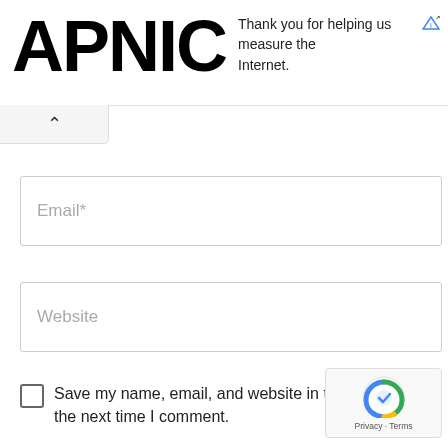APNIC — Thank you for helping us measure the Internet.
Email*
Website
Save my name, email, and website in this browser for the next time I comment.
SUBMIT
[Figure (logo): reCAPTCHA badge with Privacy and Terms text]